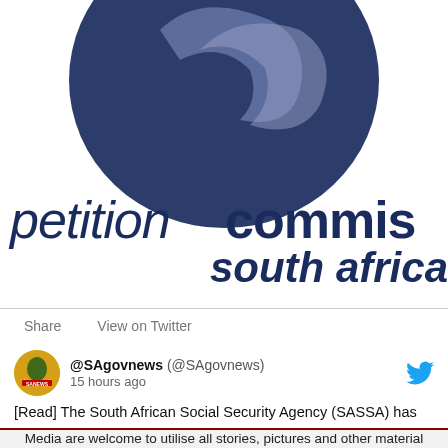[Figure (logo): Competition Commission South Africa logo — dark navy circle with stylized bird/arrow motif, with text 'competition commis south africa' in dark navy italic and bold]
Share   View on Twitter
@SAgovnews (@SAgovnews)
15 hours ago
[Read] The South African Social Security Agency (SASSA) has
Media are welcome to utilise all stories, pictures and other material on this site as well as from our Facebook and Twitter accounts, at no cost.